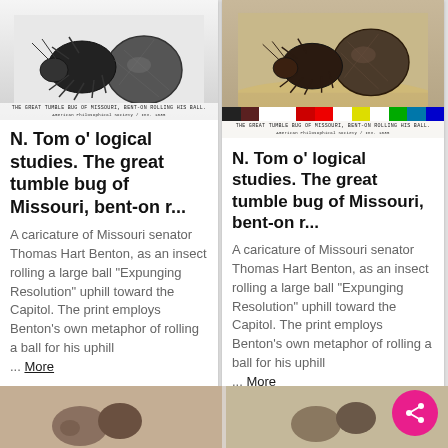[Figure (photo): Black and white illustration of a large beetle rolling a ball, captioned 'THE GREAT TUMBLE BUG OF MISSOURI, BENT-ON ROLLING HIS BALL.']
N. Tom o' logical studies. The great tumble bug of Missouri, bent-on r...
A caricature of Missouri senator Thomas Hart Benton, as an insect rolling a large ball "Expunging Resolution" uphill toward the Capitol. The print employs Benton's own metaphor of rolling a ball for his uphill ... More
[Figure (photo): Color illustration of a large beetle rolling a ball with color calibration strip, captioned 'THE GREAT TUMBLE BUG OF MISSOURI, BENT-ON ROLLING HIS BALL.']
N. Tom o' logical studies. The great tumble bug of Missouri, bent-on r...
A caricature of Missouri senator Thomas Hart Benton, as an insect rolling a large ball "Expunging Resolution" uphill toward the Capitol. The print employs Benton's own metaphor of rolling a ball for his uphill ... More